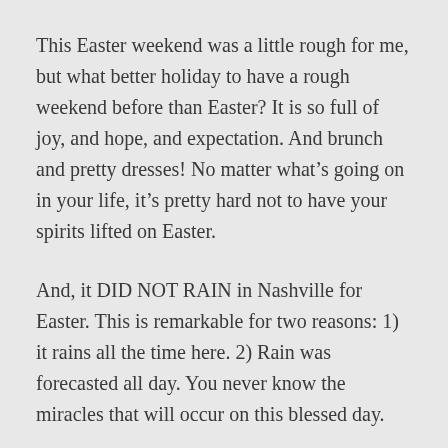This Easter weekend was a little rough for me, but what better holiday to have a rough weekend before than Easter? It is so full of joy, and hope, and expectation. And brunch and pretty dresses! No matter what’s going on in your life, it’s pretty hard not to have your spirits lifted on Easter.
And, it DID NOT RAIN in Nashville for Easter. This is remarkable for two reasons: 1) it rains all the time here. 2) Rain was forecasted all day. You never know the miracles that will occur on this blessed day.
I’m posting this picture with my friend Hannah because although it’s a little grainy for some reason, it was taken much earlier in the day and is therefore a much better picture of me than the official outfit picture below. So,